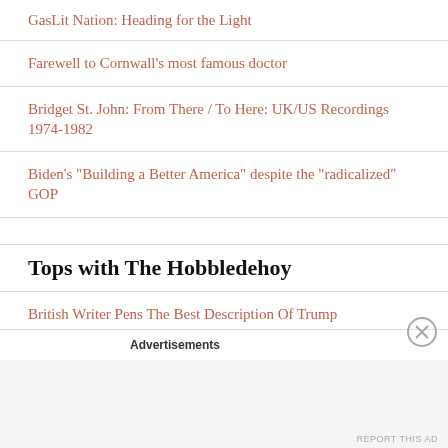GasLit Nation: Heading for the Light
Farewell to Cornwall's most famous doctor
Bridget St. John: From There / To Here: UK/US Recordings 1974-1982
Biden's "Building a Better America" despite the "radicalized" GOP
Tops with The Hobbledehoy
British Writer Pens The Best Description Of Trump
Advertisements